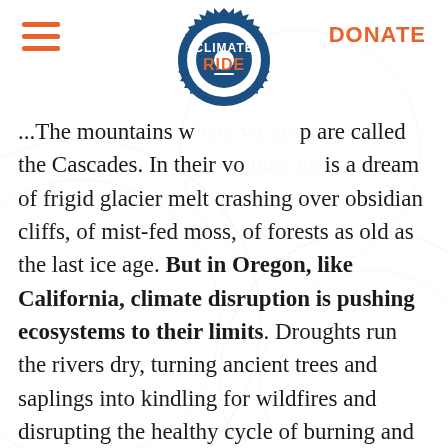DONATE
[Figure (logo): Climate Ride logo — gear/sprocket ring with text CLIMATE RIDE inside, dark blue color]
...The mountains w[here we ride]p are called the Cascades. In their vo[lume] is a dream of frigid glacier melt crashing over obsidian cliffs, of mist-fed moss, of forests as old as the last ice age. But in Oregon, like California, climate disruption is pushing ecosystems to their limits. Droughts run the rivers dry, turning ancient trees and saplings into kindling for wildfires and disrupting the healthy cycle of burning and regrowth. Pine beetles decimate whole forests, their habitat expanded by the unusual weather patterns. Climate change threatens industry and ecosystem, livelihood and